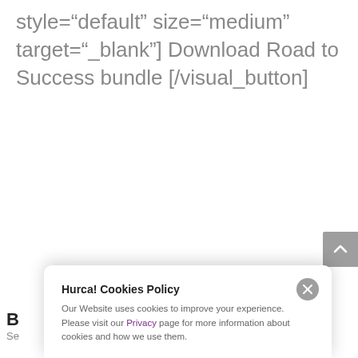style="default" size="medium" target="_blank"] Download Road to Success bundle [/visual_button]
[Figure (screenshot): Gray scroll-to-top button with upward caret arrow on the right side of the page]
Hurca! Cookies Policy
Our Website uses cookies to improve your experience. Please visit our Privacy page for more information about cookies and how we use them.